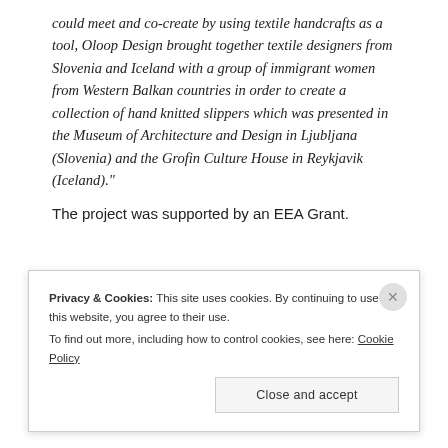could meet and co-create by using textile handcrafts as a tool, Oloop Design brought together textile designers from Slovenia and Iceland with a group of immigrant women from Western Balkan countries in order to create a collection of hand knitted slippers which was presented in the Museum of Architecture and Design in Ljubljana (Slovenia) and the Grofin Culture House in Reykjavik (Iceland)." The project was supported by an EEA Grant.
[Figure (screenshot): Screenshot of Oloop Design website showing the logo 'o—oop' and navigation bar with links: HOME, ABOUT, PRODUCTS, PROJECTS, EVENTS, PRESS, CONTACT. Below is a partial view of a webpage with light-colored interior product imagery.]
Privacy & Cookies: This site uses cookies. By continuing to use this website, you agree to their use. To find out more, including how to control cookies, see here: Cookie Policy